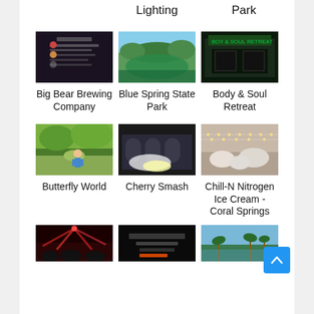Lighting
Park
[Figure (screenshot): Big Bear Brewing Company thumbnail - dark background with menu text]
Big Bear Brewing Company
[Figure (photo): Blue Spring State Park - natural spring with green water and trees]
Blue Spring State Park
[Figure (photo): Body & Soul Retreat - dark storefront with green signage]
Body & Soul Retreat
[Figure (photo): Butterfly World - outdoor photo with trees and child]
Butterfly World
[Figure (photo): Cherry Smash - building facade with arched windows and bright light]
Cherry Smash
[Figure (photo): Chill-N Nitrogen Ice Cream Coral Springs - indoor shot with string lights]
Chill-N Nitrogen Ice Cream - Coral Springs
[Figure (photo): Bottom row left - concert with red stage lights]
[Figure (photo): Bottom row center - dark screenshot with text]
[Figure (photo): Bottom row right - waterfront with palm trees]